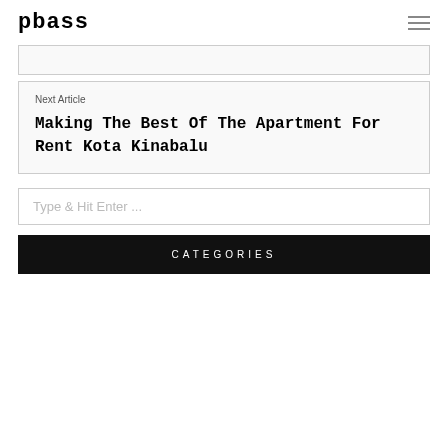pbass
Next Article
Making The Best Of The Apartment For Rent Kota Kinabalu
Type & Hit Enter ...
CATEGORIES